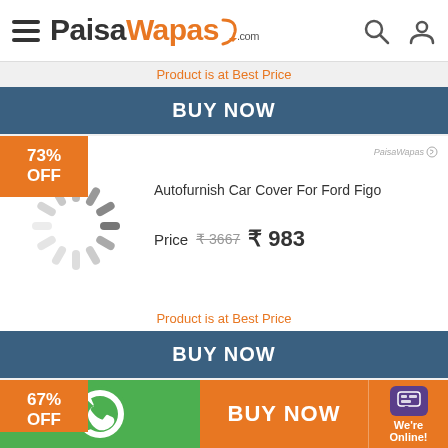PaisaWapas.com
Product is at Best Price
BUY NOW
[Figure (screenshot): 73% OFF badge and product listing for Autofurnish Car Cover For Ford Figo with price ₹983 (original ₹3667)]
Autofurnish Car Cover For Ford Figo
Price  ₹3667  ₹983
Product is at Best Price
BUY NOW
67% OFF
BUY NOW
We're Online!